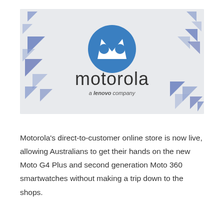[Figure (logo): Motorola logo — blue circle with white M batwing symbol, text 'motorola' below in dark grey, subtitle 'a lenovo company' in italic, with decorative blue/grey triangle patterns in corners on a light grey background]
Motorola's direct-to-customer online store is now live, allowing Australians to get their hands on the new Moto G4 Plus and second generation Moto 360 smartwatches without making a trip down to the shops.